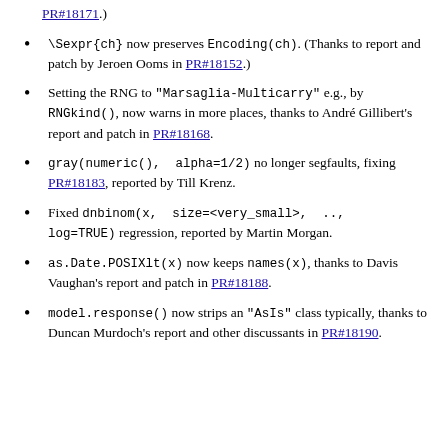PR#18171.)
\Sexpr{ch} now preserves Encoding(ch). (Thanks to report and patch by Jeroen Ooms in PR#18152.)
Setting the RNG to "Marsaglia-Multicarry" e.g., by RNGkind(), now warns in more places, thanks to André Gillibert's report and patch in PR#18168.
gray(numeric(), alpha=1/2) no longer segfaults, fixing PR#18183, reported by Till Krenz.
Fixed dnbinom(x, size=<very_small>, .., log=TRUE) regression, reported by Martin Morgan.
as.Date.POSIXlt(x) now keeps names(x), thanks to Davis Vaughan's report and patch in PR#18188.
model.response() now strips an "AsIs" class typically, thanks to Duncan Murdoch's report and other discussants in PR#18190.